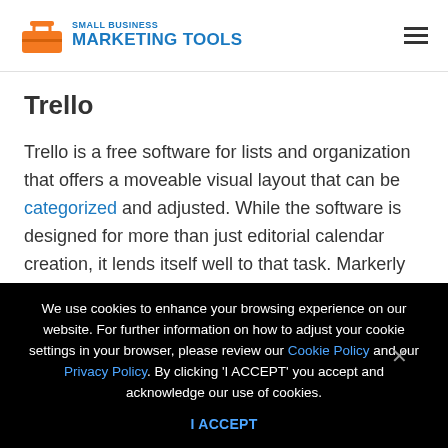Small Business Marketing Tools
Trello
Trello is a free software for lists and organization that offers a moveable visual layout that can be categorized and adjusted. While the software is designed for more than just editorial calendar creation, it lends itself well to that task. Markerly has a guide to creating an editorial
We use cookies to enhance your browsing experience on our website. For further information on how to adjust your cookie settings in your browser, please review our Cookie Policy and our Privacy Policy. By clicking 'I ACCEPT' you accept and acknowledge our use of cookies.
I ACCEPT